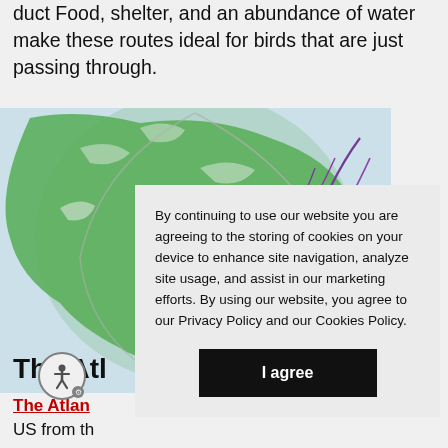duct Food, shelter, and an abundance of water make these routes ideal for birds that are just passing through.
[Figure (illustration): Illustration of a green globe/world map on a light blue background with purple migration route lines arcing across North America]
By continuing to use our website you are agreeing to the storing of cookies on your device to enhance site navigation, analyze site usage, and assist in our marketing efforts. By using our website, you agree to our Privacy Policy and our Cookies Policy.
I agree
The Atl
The Atlan
US from th